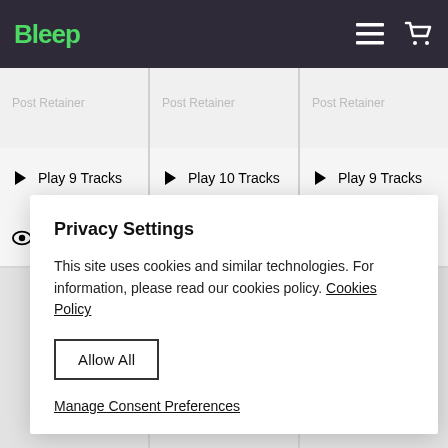Bleep
Play 9 Tracks
Play 10 Tracks
Play 9 Tracks
Download
Download
Download
Privacy Settings
This site uses cookies and similar technologies. For information, please read our cookies policy. Cookies Policy
Allow All
Manage Consent Preferences